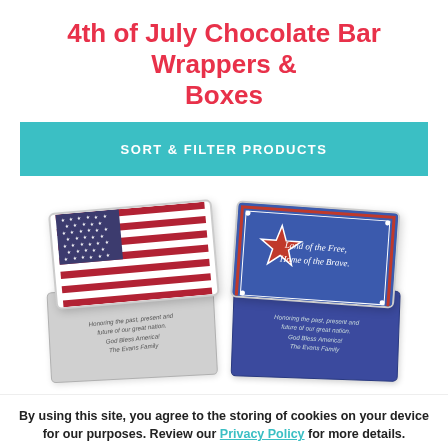4th of July Chocolate Bar Wrappers & Boxes
SORT & FILTER PRODUCTS
[Figure (photo): Four chocolate bar wrappers: American flag design, patriotic star design reading 'Land of the Free, Home of the Brave.', silver back wrapper with custom text 'Honoring the past, present and future of our great nation. God Bless America! The Evans Family', and blue back wrapper with same text.]
By using this site, you agree to the storing of cookies on your device for our purposes. Review our Privacy Policy for more details.
GOT IT
Personalized Patriotic Chocolate Bar Wrappers
Personalized Patriotic Chocolate Bar Wrappers